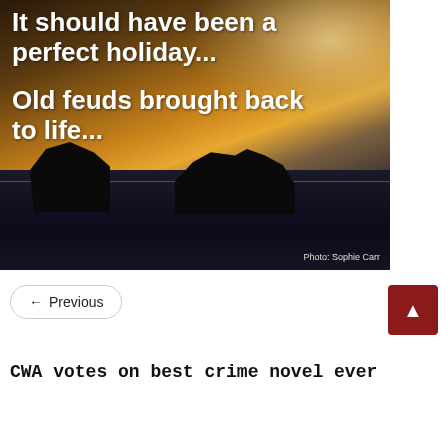[Figure (photo): Dramatic coastal photograph with dark sea stacks silhouetted against a golden stormy sky with overlaid white bold text reading 'It should have been a perfect holiday...' and 'Old feuds brought back to life...' with photo credit 'Photo: Sophie Carr']
← Previous
▲
CWA votes on best crime novel ever